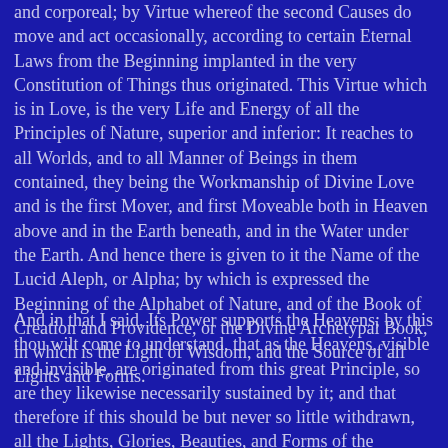and corporeal; by Virtue whereof the second Causes do move and act occasionally, according to certain Eternal Laws from the Beginning implanted in the very Constitution of Things thus originated. This Virtue which is in Love, is the very Life and Energy of all the Principles of Nature, superior and inferior: It reaches to all Worlds, and to all Manner of Beings in them contained, they being the Workmanship of Divine Love and is the first Mover, and first Moveable both in Heaven above and in the Earth beneath, and in the Water under the Earth. And hence there is given to it the Name of the Lucid Aleph, or Alpha; by which is expressed the Beginning of the Alphabet of Nature, and of the Book of Creation and Providence, or the Divine Archetypal Book, in which is the Light of Wisdom, and the Source of all Lights and Forms.
And in that I said, Its Power supports the Heavens; by this thou wilt come to understand, that as the Heavens, visible and invisible, are originated from this great Principle, so are they likewise necessarily sustained by it; and that therefore if this should be but never so little withdrawn, all the Lights, Glories, Beauties, and Forms of the heavenly Worlds, would presently sink into Darkness and Chaos.
And whereas I further said, that it upholds the Earth: this will appear to thee no less evident than the former, and thou